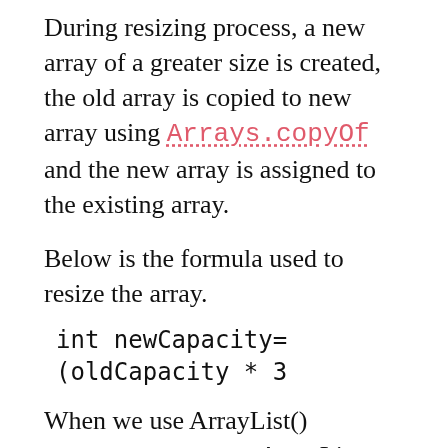During resizing process, a new array of a greater size is created, the old array is copied to new array using Arrays.copyOf and the new array is assigned to the existing array.
Below is the formula used to resize the array.
When we use ArrayList() constructor we get a ArrayList with Size=10. On adding 11th element in the list new Arraylist is created inside ensureCapacity() method and existing array is copied.